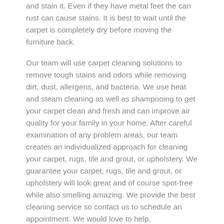and stain it. Even if they have metal feet the can rust can cause stains. It is best to wait until the carpet is completely dry before moving the furniture back.
Our team will use carpet cleaning solutions to remove tough stains and odors while removing dirt, dust, allergens, and bacteria. We use heat and steam cleaning as well as shampooing to get your carpet clean and fresh and can improve air quality for your family in your home. After careful examination of any problem areas, our team creates an individualized approach for cleaning your carpet, rugs, tile and grout, or upholstery. We guarantee your carpet, rugs, tile and grout, or upholstery will look great and of course spot-free while also smelling amazing. We provide the best cleaning service so contact us to schedule an appointment. We would love to help.